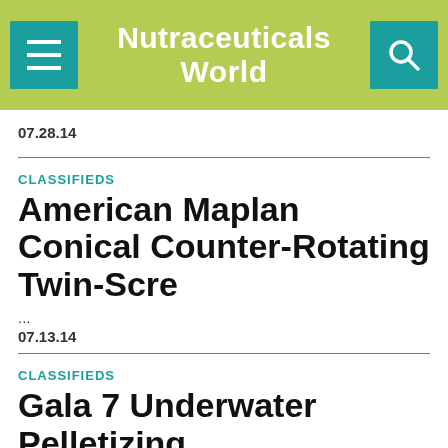Nutraceuticals World
07.28.14
CLASSIFIEDS
American Maplan Conical Counter-Rotating Twin-Scre
...
07.13.14
CLASSIFIEDS
Gala 7 Underwater Pelletizing